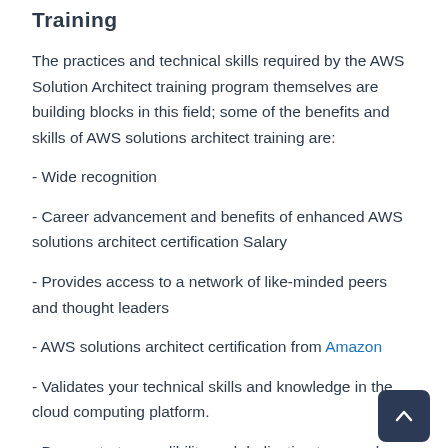Training
The practices and technical skills required by the AWS Solution Architect training program themselves are building blocks in this field; some of the benefits and skills of AWS solutions architect training are:
- Wide recognition
- Career advancement and benefits of enhanced AWS solutions architect certification Salary
- Provides access to a network of like-minded peers and thought leaders
- AWS solutions architect certification from Amazon
- Validates your technical skills and knowledge in the cloud computing platform.
- Demonstrates credibility and dedication to your clou…